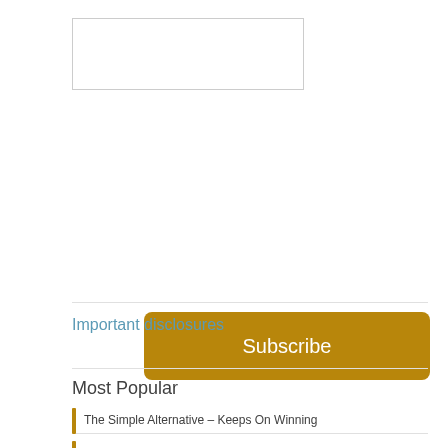Subscribe
Important disclosures
Most Popular
The Simple Alternative – Keeps On Winning
The Simple Alternative
Say It Ain't So, Joe